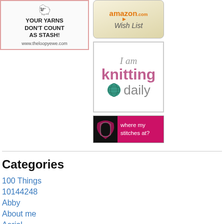[Figure (logo): The Loopy Ewe banner: 'Your yarns don't count as stash!' with sheep illustration and www.theloopyewe.com]
[Figure (logo): Amazon.com Wish List badge]
[Figure (logo): I am knitting daily badge with yarn ball graphic]
[Figure (logo): Where my stitches at? badge with black and pink design]
Categories
100 Things
10144248
Abby
About me
Aerial
Anne's visit
Awards